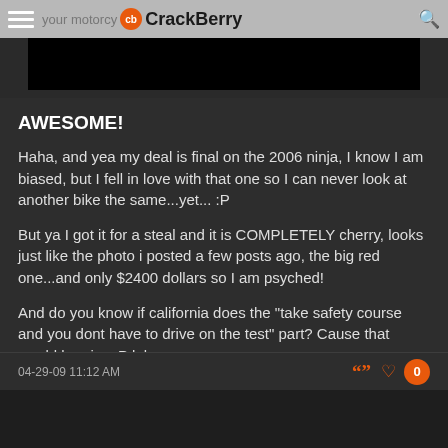your motorcycle | CrackBerry
[Figure (photo): Black image bar at top of post]
AWESOME!

Haha, and yea my deal is final on the 2006 ninja, I know I am biased, but I fell in love with that one so I can never look at another bike the same...yet... :P

But ya I got it for a steal and it is COMPLETELY cherry, looks just like the photo i posted a few posts ago, the big red one...and only $2400 dollars so I am psyched!

And do you know if california does the "take safety course and you dont have to drive on the test" part? Cause that would be nice :P lol
04-29-09 11:12 AM